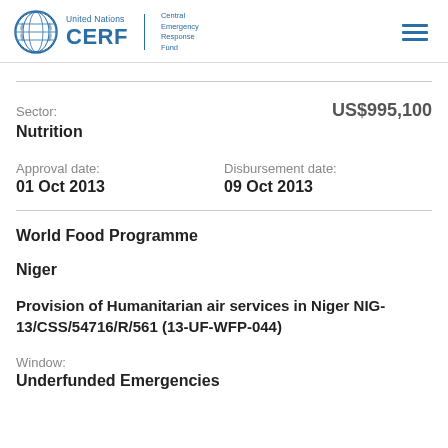United Nations CERF Central Emergency Response Fund
Sector:
US$995,100
Nutrition
Approval date: 01 Oct 2013
Disbursement date: 09 Oct 2013
World Food Programme
Niger
Provision of Humanitarian air services in Niger NIG-13/CSS/54716/R/561 (13-UF-WFP-044)
Window:
Underfunded Emergencies